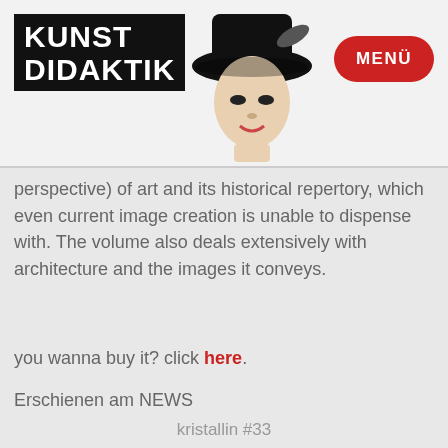KUNST DIDAKTIK
perspective) of art and its historical repertory, which even current image creation is unable to dispense with. The volume also deals extensively with architecture and the images it conveys.
you wanna buy it? click here.
Erschienen am NEWS
kristallin #33